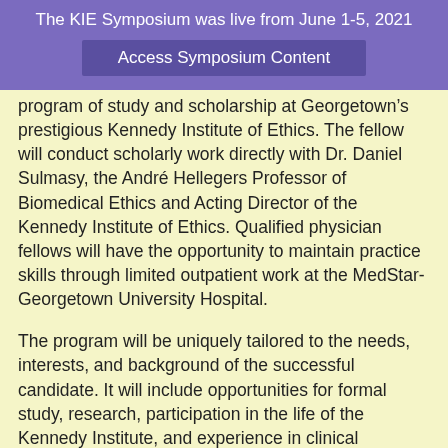The KIE Symposium was live from June 1-5, 2021
Access Symposium Content
program of study and scholarship at Georgetown’s prestigious Kennedy Institute of Ethics. The fellow will conduct scholarly work directly with Dr. Daniel Sulmasy, the André Hellegers Professor of Biomedical Ethics and Acting Director of the Kennedy Institute of Ethics. Qualified physician fellows will have the opportunity to maintain practice skills through limited outpatient work at the MedStar-Georgetown University Hospital.
The program will be uniquely tailored to the needs, interests, and background of the successful candidate. It will include opportunities for formal study, research, participation in the life of the Kennedy Institute, and experience in clinical bioethics consultation. The proximity of the main campus and the medical center provides unique opportunities for interdisciplinary study and collaborative research. The Law Center is also